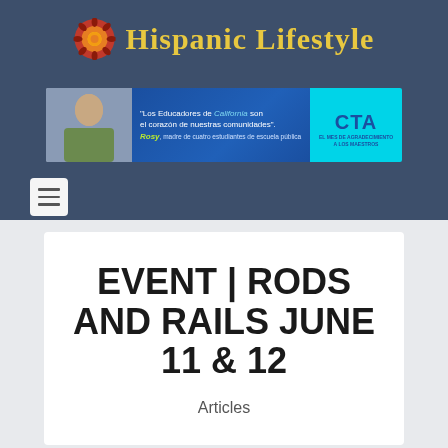Hispanic Lifestyle
[Figure (infographic): CTA advertisement banner: photo of a woman on the left, blue background with Spanish text in the center quoting 'Los Educadores de California son el corazon de nuestras comunidades' - Rosy, madre de cuatro estudiantes de escuela publica, and a cyan CTA logo box on the right saying EL MES DE AGRADECIMIENTO A LOS MAESTROS]
EVENT | RODS AND RAILS JUNE 11 & 12
Articles